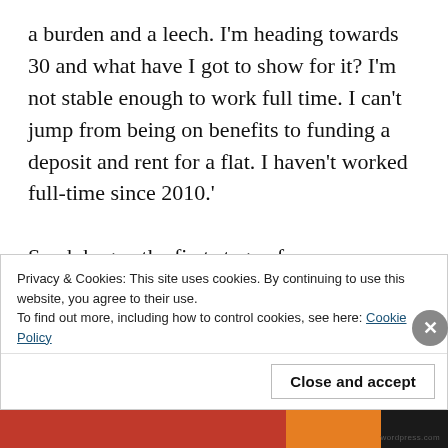a burden and a leech. I'm heading towards 30 and what have I got to show for it? I'm not stable enough to work full time. I can't jump from being on benefits to funding a deposit and rent for a flat. I haven't worked full-time since 2010.' Sarah began the first stage of some very gruelling treatment for her BPD, but to make progress she would need to undertake another two years of therapy over about three days a week. Having left her home and pulled out of treatment, she would need to start again and access services in this
Privacy & Cookies: This site uses cookies. By continuing to use this website, you agree to their use. To find out more, including how to control cookies, see here: Cookie Policy
Close and accept